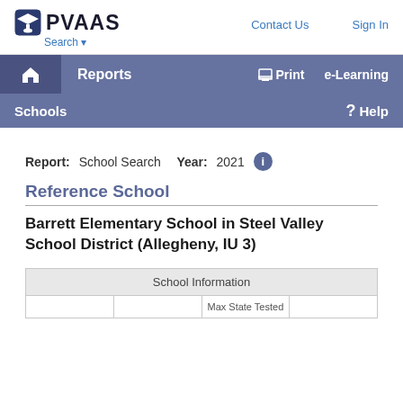PVAAS Search | Contact Us | Sign In
Reports | Print | e-Learning | Schools | Help
Report: School Search   Year: 2021
Reference School
Barrett Elementary School in Steel Valley School District (Allegheny, IU 3)
| School Information |
| --- |
|  | Max State Tested |  |